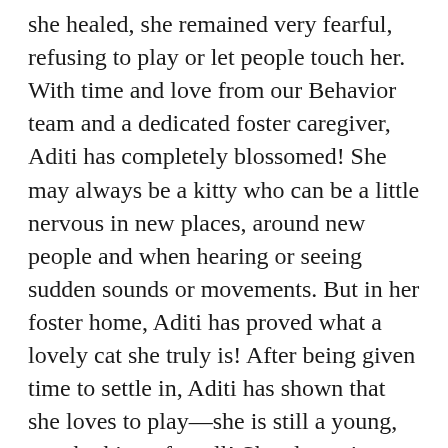she healed, she remained very fearful, refusing to play or let people touch her. With time and love from our Behavior team and a dedicated foster caregiver, Aditi has completely blossomed! She may always be a kitty who can be a little nervous in new places, around new people and when hearing or seeing sudden sounds or movements. But in her foster home, Aditi has proved what a lovely cat she truly is! After being given time to settle in, Aditi has shown that she loves to play—she is still a young, spunky kitty after all! She also enjoys being pet when it's paired with a slow approach and has even started to cuddle up next to her foster caregiver in bed. She's a wonderful little lady—and a staff favorite—who can't wait to make even more progress in a new, adoptive home.